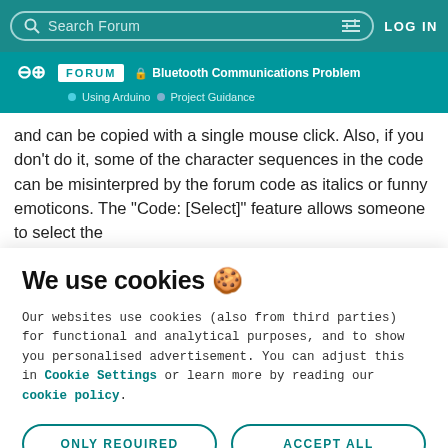Search Forum | LOG IN
Bluetooth Communications Problem | Using Arduino | Project Guidance
and can be copied with a single mouse click. Also, if you don't do it, some of the character sequences in the code can be misinterpred by the forum code as italics or funny emoticons. The “Code: [Select]” feature allows someone to select the
We use cookies 🍪
Our websites use cookies (also from third parties) for functional and analytical purposes, and to show you personalised advertisement. You can adjust this in Cookie Settings or learn more by reading our cookie policy.
ONLY REQUIRED | ACCEPT ALL